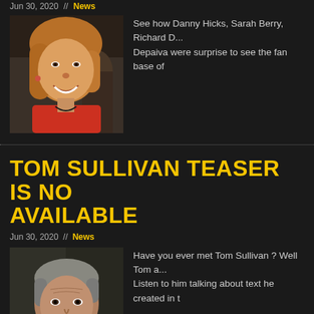Jun 30, 2020  //  News
[Figure (photo): Woman with blonde hair smiling, wearing a red top, in a room with other people in the background]
See how Danny Hicks, Sarah Berry, Richard D... Depaiva were surprise to see the fan base of
TOM SULLIVAN TEASER IS NO AVAILABLE
Jun 30, 2020  //  News
[Figure (photo): Middle-aged man with grey hair wearing a red/orange shirt, in front of a colorful background]
Have you ever met Tom Sullivan ? Well Tom a... Listen to him talking about text he created in t